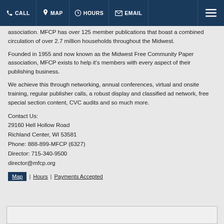CALL | MAP | HOURS | EMAIL
association. MFCP has over 125 member publications that boast a combined circulation of over 2.7 million households throughout the Midwest.
Founded in 1955 and now known as the Midwest Free Community Paper association, MFCP exists to help it's members with every aspect of their publishing business.
We achieve this through networking, annual conferences, virtual and onsite training, regular publisher calls, a robust display and classified ad network, free special section content, CVC audits and so much more.
Contact Us:
29160 Hell Hollow Road
Richland Center, WI 53581
Phone: 888-899-MFCP (6327)
Director: 715-340-9500
director@mfcp.org
Map | Hours | Payments Accepted